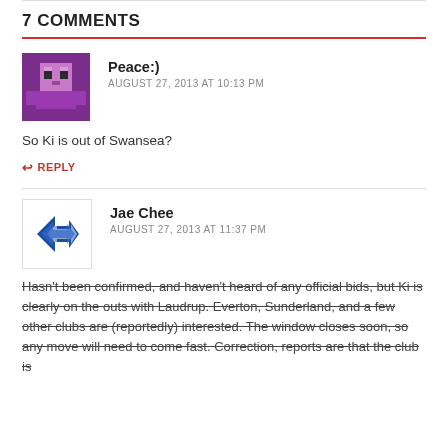7 COMMENTS
[Figure (illustration): Pixel art avatar of a purple character (Minecraft-style)]
Peace:)
AUGUST 27, 2013 AT 10:13 PM
So Ki is out of Swansea?
↩ REPLY
[Figure (logo): Blue and white logo with stylized wings/arrows design for Jae Chee]
Jae Chee
AUGUST 27, 2013 AT 11:37 PM
Hasn't been confirmed, and haven't heard of any official bids, but Ki is clearly on the outs with Laudrup. Everton, Sunderland, and a few other clubs are (reportedly) interested. The window closes soon, so any move will need to come fast. Correction, reports are that the club is